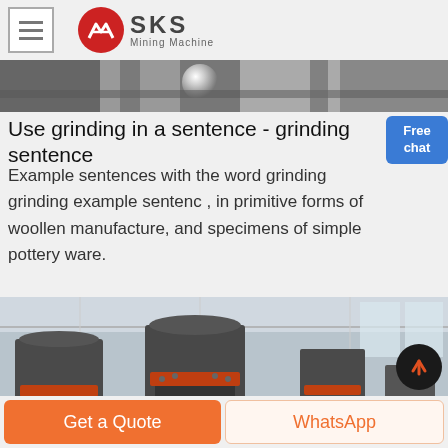SKS Mining Machine
[Figure (photo): Close-up of industrial grinding machine components with metallic sphere visible]
Use grinding in a sentence - grinding sentence
Example sentences with the word grinding grinding example sentenc , in primitive forms of woollen manufacture, and specimens of simple pottery ware.
[Figure (photo): Industrial mining/grinding machines (cone crushers) in a large factory warehouse]
Get a Quote
WhatsApp